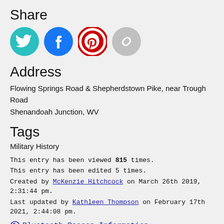Share
[Figure (illustration): Four social media sharing icons: Twitter (teal circle), Facebook (blue circle), Pinterest (red circle), and a link/copy icon (gray circle).]
Address
Flowing Springs Road & Shepherdstown Pike, near Trough Road
Shenandoah Junction, WV
Tags
Military History
This entry has been viewed 815 times.
This entry has been edited 5 times.
Created by McKenzie Hitchcock on March 26th 2019, 2:31:44 pm.
Last updated by Kathleen Thompson on February 17th 2021, 2:44:08 pm.
Bluetooth Beacon Information